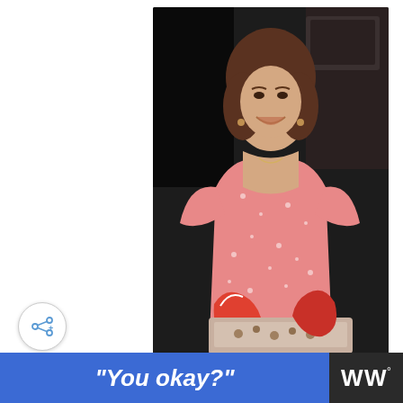[Figure (photo): Woman in pink floral dress smiling and holding a baking tray with oven mitts in a kitchen setting]
WHAT'S NEXT → Old Fashioned Kidney Bean...
idental Happy Baker
Hi, I'm Amy! Here you'll find tried
[Figure (other): Blue advertisement bar with text 'You okay?' and a logo on the right]